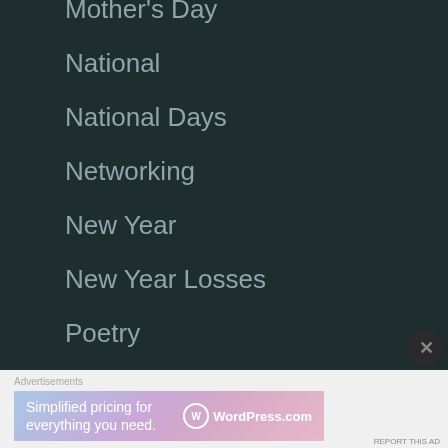Mother's Day
National
National Days
Networking
New Year
New Year Losses
Poetry
Politics
Advertisements
[Figure (infographic): WordPress.com advertisement banner: 'Simplified pricing for everything you need.' with WordPress logo]
REPORT THIS AD